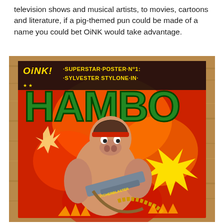television shows and musical artists, to movies, cartoons and literature, if a pig-themed pun could be made of a name you could bet OiNK would take advantage.
[Figure (photo): A photograph of an OiNK! comic magazine poster lying on a wooden surface. The poster reads 'OiNK! SUPERSTAR POSTER No 1: SYLVESTER STYLONE IN HAMBO' with comic-style artwork depicting a muscular pig-man character holding a large gun labeled 'BUTCHERBLASTER', styled as a parody of the Rambo movie poster.]